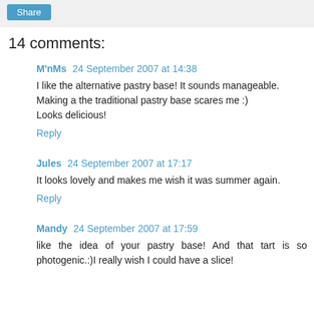Share
14 comments:
M'nMs 24 September 2007 at 14:38
I like the alternative pastry base! It sounds manageable. Making a the traditional pastry base scares me :)
Looks delicious!
Reply
Jules 24 September 2007 at 17:17
It looks lovely and makes me wish it was summer again.
Reply
Mandy 24 September 2007 at 17:59
like the idea of your pastry base! And that tart is so photogenic.:)I really wish I could have a slice!